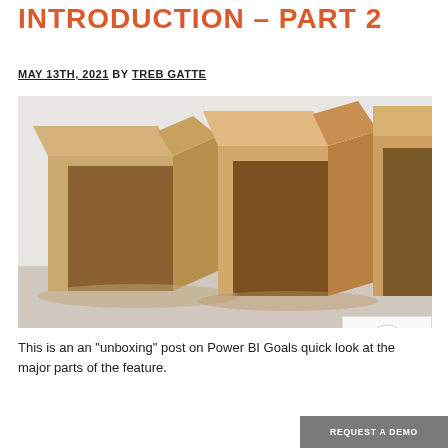INTRODUCTION – PART 2
MAY 13TH, 2021 BY TREB GATTE
[Figure (photo): Photo of open cardboard boxes against a light grey/white background, with a reCAPTCHA badge overlay and a 'REQUEST A DEMO' button overlay in the lower right corner.]
This is an an “unboxing” post on Power BI Goals quick look at the major parts of the feature.